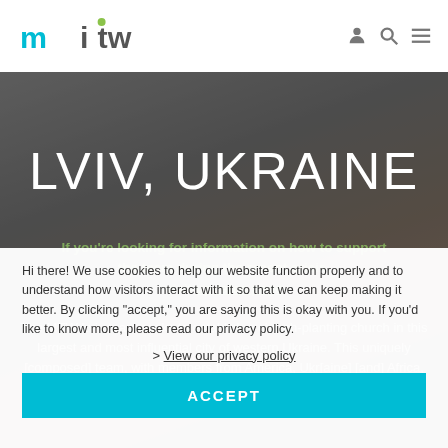MTW logo and navigation icons
LVIV, UKRAINE
If you're looking for information on how to support the team during the recent crisis, visit [link]
The MTW Lviv team seeks to establish a church-planting church in this largest and most influential city of western Ukraine. This uniquely [composed] team, with members from America, Ukr[aine] [and] Africa, is building relationships through hospitality-based ministries
Hi there! We use cookies to help our website function properly and to understand how visitors interact with it so that we can keep making it better. By clicking "accept," you are saying this is okay with you. If you'd like to know more, please read our privacy policy.
> View our privacy policy
ACCEPT